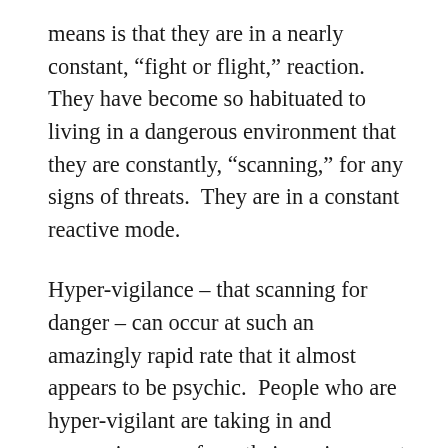means is that they are in a nearly constant, “fight or flight,” reaction.  They have become so habituated to living in a dangerous environment that they are constantly, “scanning,” for any signs of threats.  They are in a constant reactive mode.
Hyper-vigilance – that scanning for danger – can occur at such an amazingly rapid rate that it almost appears to be psychic.  People who are hyper-vigilant are taking in and processing cues from their environment at a speed that’s nearly incomprehensible to a, “normal,” person.  That’s how they survived in surroundings that were fraught with danger, by being extremely sensitive to the slightest